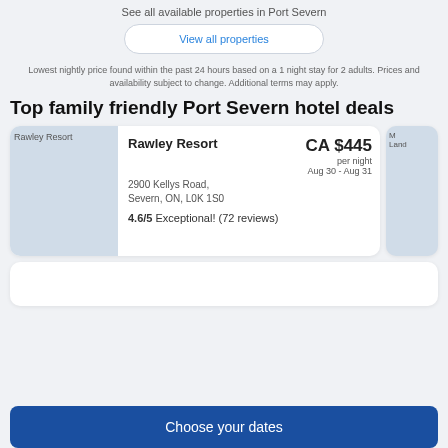See all available properties in Port Severn
View all properties
Lowest nightly price found within the past 24 hours based on a 1 night stay for 2 adults. Prices and availability subject to change. Additional terms may apply.
Top family friendly Port Severn hotel deals
[Figure (photo): Rawley Resort property thumbnail image]
Rawley Resort
2900 Kellys Road, Severn, ON, L0K 1S0
CA $445 per night
Aug 30 - Aug 31
4.6/5 Exceptional! (72 reviews)
[Figure (photo): Partially visible second property thumbnail (M... Land...)]
Choose your dates